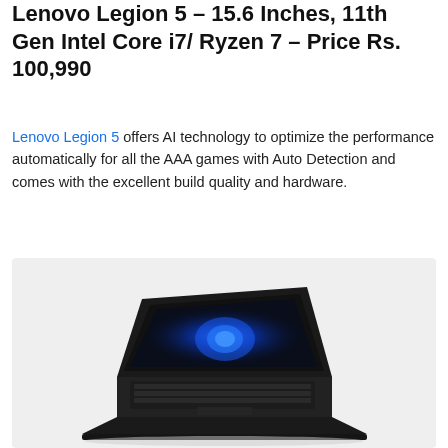Lenovo Legion 5 – 15.6 Inches, 11th Gen Intel Core i7/ Ryzen 7 – Price Rs. 100,990
Lenovo Legion 5 offers AI technology to optimize the performance automatically for all the AAA games with Auto Detection and comes with the excellent build quality and hardware.
[Figure (photo): Lenovo Legion 5 gaming laptop shown in a 3/4 open angle view against a light gray background, displaying a blue glowing wallpaper on screen.]